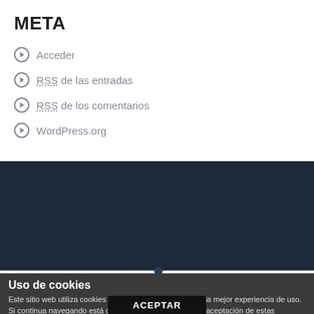META
Acceder
RSS de las entradas
RSS de los comentarios
WordPress.org
Uso de cookies
Este sitio web utiliza cookies para que usted pueda tener la mejor experiencia de uso. Si continua navegando está dando el consentimiento a la aceptación de estas mencionadas cookies y a la aceptación de nuestra política de cookies, pulse aqui para más información.